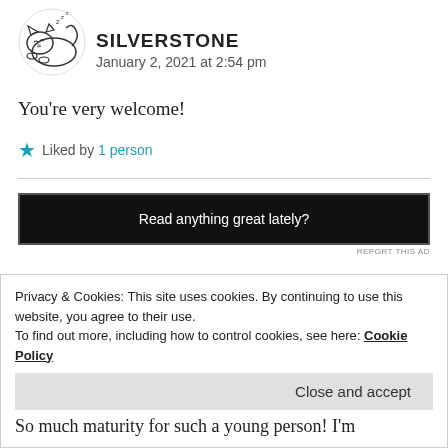[Figure (illustration): Avatar of a cartoon sleeping cat/wolf, line drawing style, black and white]
SILVERSTONE
January 2, 2021 at 2:54 pm
You're very welcome!
Liked by 1 person
[Figure (other): Advertisement banner: Read anything great lately?]
REPORT THIS AD
Privacy & Cookies: This site uses cookies. By continuing to use this website, you agree to their use.
To find out more, including how to control cookies, see here: Cookie Policy
Close and accept
So much maturity for such a young person! I'm